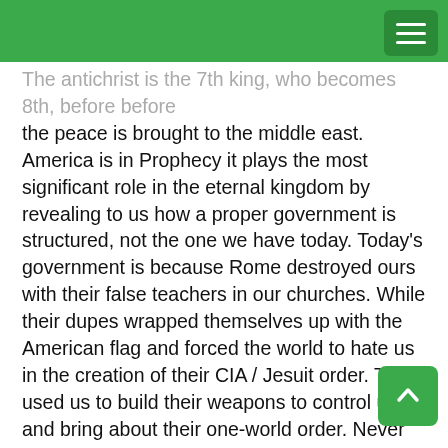[navigation bar with hamburger menu]
The antichrist is the 7th king, who becomes 8th, before before the peace is brought to the middle east. America is in Prophecy it plays the most significant role in the eternal kingdom by revealing to us how a proper government is structured, not the one we have today. Today's government is because Rome destroyed ours with their false teachers in our churches. While their dupes wrapped themselves up with the American flag and forced the world to hate us in the creation of their CIA / Jesuit order. They used us to build their weapons to control us and bring about their one-world order. Never forget Hitler was a socialist to you know. He believed the state should control everything as well, but the state controlling everything today is Rome. How will they determine who stays and who must go if there isn't enough for them? History says they never have enough.

I have gone through scripture to show you important words that...